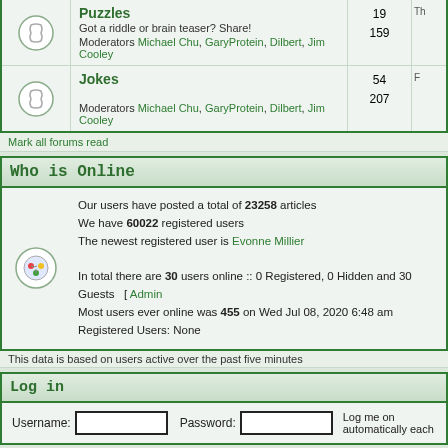|  | Forum | Topics | Posts | Last Post |
| --- | --- | --- | --- | --- |
| [icon] | Puzzles
Got a riddle or brain teaser? Share!
Moderators Michael Chu, GaryProtein, Dilbert, Jim Cooley | 19 | 159 | Th... |
| [icon] | Jokes
Moderators Michael Chu, GaryProtein, Dilbert, Jim Cooley | 54 | 207 | F... |
Mark all forums read
Who is Online
Our users have posted a total of 23258 articles
We have 60022 registered users
The newest registered user is Evonne Millier
In total there are 30 users online :: 0 Registered, 0 Hidden and 30 Guests  [ Admin...
Most users ever online was 455 on Wed Jul 08, 2020 6:48 am
Registered Users: None
This data is based on users active over the past five minutes
Log in
Username: [input]  Password: [input]  Log me on automatically each...
New posts    No new posts    Forum is lo...
Powered by phpBB © 2001, 2005 phpBB Group